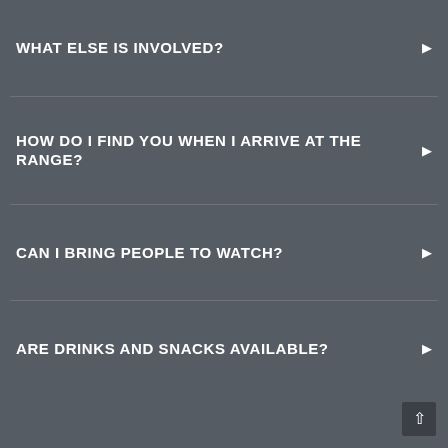WHAT ELSE IS INVOLVED?
HOW DO I FIND YOU WHEN I ARRIVE AT THE RANGE?
CAN I BRING PEOPLE TO WATCH?
ARE DRINKS AND SNACKS AVAILABLE?